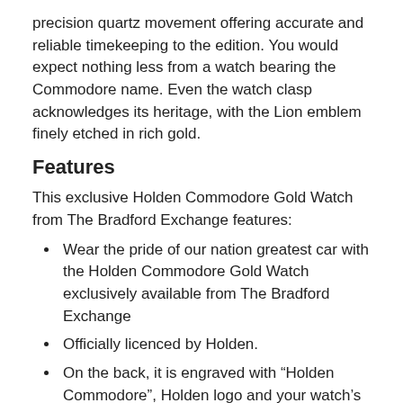precision quartz movement offering accurate and reliable timekeeping to the edition. You would expect nothing less from a watch bearing the Commodore name. Even the watch clasp acknowledges its heritage, with the Lion emblem finely etched in rich gold.
Features
This exclusive Holden Commodore Gold Watch from The Bradford Exchange features:
Wear the pride of our nation greatest car with the Holden Commodore Gold Watch exclusively available from The Bradford Exchange
Officially licenced by Holden.
On the back, it is engraved with “Holden Commodore”, Holden logo and your watch’s edition number.
The watch features three chronographic sub dials: seconds, minutes and hour powered by precision quartz movement and has stop watch function
The crown is carefully ion-plated in gold, a process which ensures durability and shine